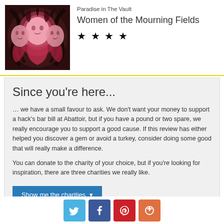[Figure (illustration): Album art showing three ghostly female faces in red/pink tones on dark background]
Paradise in The Vault
Women of the Mourning Fields
★ ★ ★ ★
Since you're here...
… we have a small favour to ask. We don't want your money to support a hack's bar bill at Abattoir, but if you have a pound or two spare, we really encourage you to support a good cause. If this review has either helped you discover a gem or avoid a turkey, consider doing some good that will really make a difference.
You can donate to the charity of your choice, but if you're looking for inspiration, there are three charities we really like.
Show me the charities ▾
[Figure (logo): Social sharing icons: Twitter, Facebook, Pinterest, and a plus/share button]